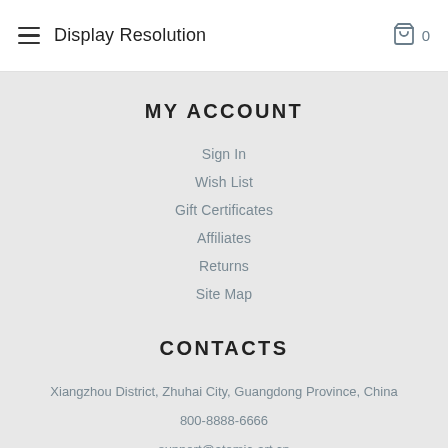Display Resolution
MY ACCOUNT
Sign In
Wish List
Gift Certificates
Affiliates
Returns
Site Map
CONTACTS
Xiangzhou District, Zhuhai City, Guangdong Province, China
800-8888-6666
support@atomic-art.cn
7 Days a week, 9:00 am - 7:00 pm